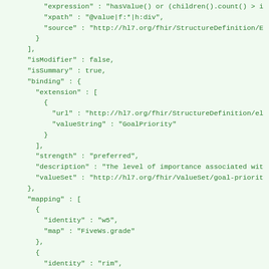JSON code snippet showing FHIR StructureDefinition fields: expression, xpath, source, isModifier, isSummary, binding (with extension url and valueString GoalPriority, strength preferred, description, valueSet), mapping (with identity w5 map FiveWs.grade, and identity rim map .priorityCode)